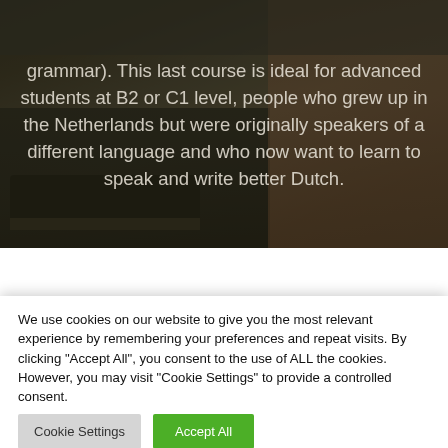[Figure (photo): Background photo of an Amsterdam canal scene with a boat, brick wall, and bicycles, partially darkened with a semi-transparent overlay. Centered white text describes an advanced Dutch language course for B2/C1 level students.]
grammar). This last course is ideal for advanced students at B2 or C1 level, people who grew up in the Netherlands but were originally speakers of a different language and who now want to learn to speak and write better Dutch.
Business language courses
We use cookies on our website to give you the most relevant experience by remembering your preferences and repeat visits. By clicking "Accept All", you consent to the use of ALL the cookies. However, you may visit "Cookie Settings" to provide a controlled consent.